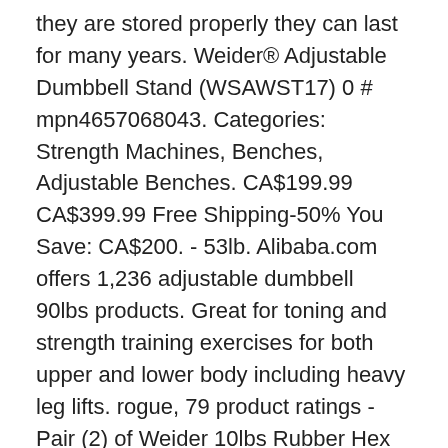they are stored properly they can last for many years. Weider® Adjustable Dumbbell Stand (WSAWST17) 0 # mpn4657068043. Categories: Strength Machines, Benches, Adjustable Benches. CA$199.99 CA$399.99 Free Shipping-50% You Save: CA$200. - 53lb. Alibaba.com offers 1,236 adjustable dumbbell 90lbs products. Great for toning and strength training exercises for both upper and lower body including heavy leg lifts. rogue, 79 product ratings - Pair (2) of Weider 10lbs Rubber Hex Dumbbell Pair Comes With 20lbs Total Look, 15 product ratings - NEW PAIR of Weider Adjustable Weight Steel 50 lbs Dumbbell Black Rack WSAW10017, 4 product ratings - NEW Weider 1-single 40 lb Hex Rubber Coated Dumbbell Weight Free Shipping, 96 product ratings - Weider New Hex Rubber 15 lb Pound Set of Two New Dumbbell Weights, 30lbs Total. From Early Beginnings, The